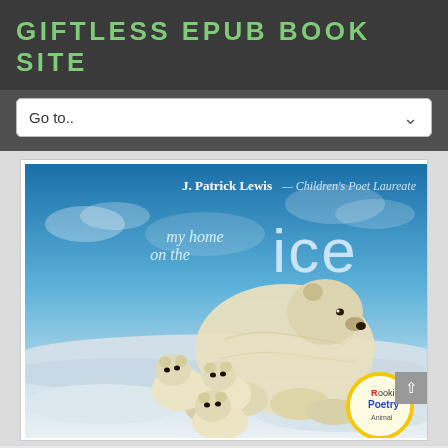GIFTLESS EPUB BOOK SITE
Go to..
[Figure (illustration): Book cover for 'my home on the ice' by J. Patrick Lewis — Children's Poet Laureate. Shows a mother polar bear with three bear cubs on an icy landscape under a blue sky. A 'Rookie Poetry Animal' circular badge appears in the bottom-right corner.]